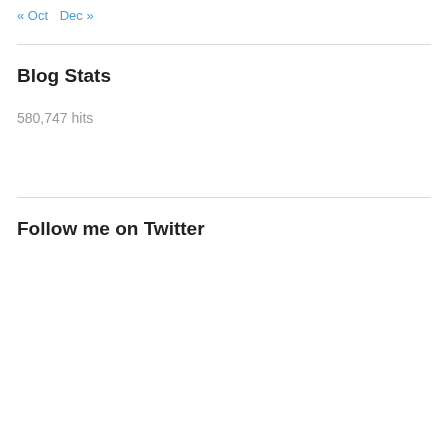« Oct   Dec »
Blog Stats
580,747 hits
Follow me on Twitter